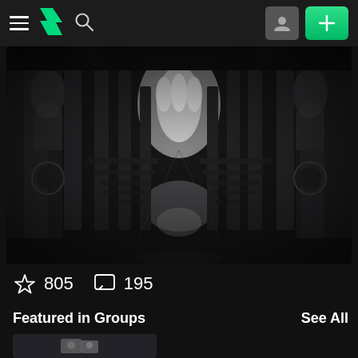[Figure (screenshot): DeviantArt app navigation bar with hamburger menu, DeviantArt lightning bolt logo in green, search icon, user avatar button (grey), and green plus button]
[Figure (photo): Black and white photograph of a gothic cathedral interior looking down nave toward altar, with ornate stone pillars and statues, pews on either side, and light streaming from arched windows at far end]
805
195
Featured in Groups
See All
[Figure (photo): Small thumbnail image showing 3D rendered computer hardware or storage device on dark background]